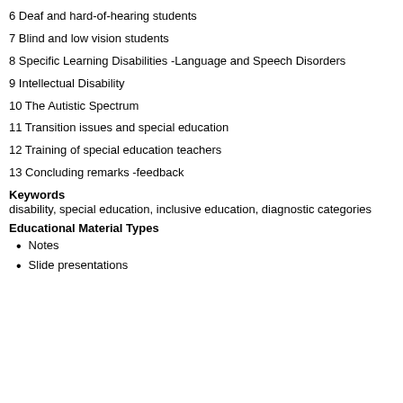6 Deaf and hard-of-hearing students
7 Blind and low vision students
8 Specific Learning Disabilities -Language and Speech Disorders
9 Intellectual Disability
10 The Autistic Spectrum
11 Transition issues and special education
12 Training of special education teachers
13 Concluding remarks -feedback
Keywords
disability, special education, inclusive education, diagnostic categories
Educational Material Types
Notes
Slide presentations